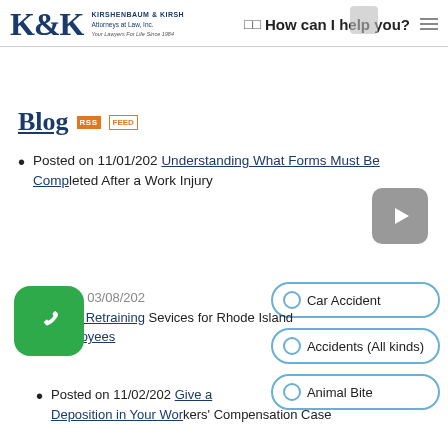[Figure (logo): K&K Kirshenbaum & Kirsh Attorneys at Law Inc. logo with firm name and tagline]
How can I help you?
Blog RSS FEED
Posted on 11/01/202 Understanding What Forms Must Be Completed After a Work Injury
Posted on 03/08/202 Workers Job Retraining Services for Rhode Island Employees
Posted on 11/02/202 Understanding How to Give a Deposition in Your Workers Compensation Case